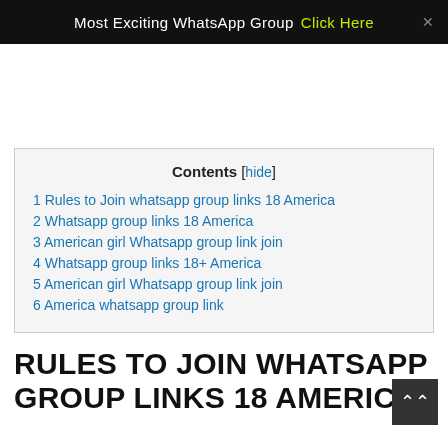Most Exciting WhatsApp Group Click Here
| Contents [hide] |
| --- |
| 1 Rules to Join whatsapp group links 18 America |
| 2 Whatsapp group links 18 America |
| 3 American girl Whatsapp group link join |
| 4 Whatsapp group links 18+ America |
| 5 American girl Whatsapp group link join |
| 6 America whatsapp group link |
RULES TO JOIN WHATSAPP GROUP LINKS 18 AMERICA